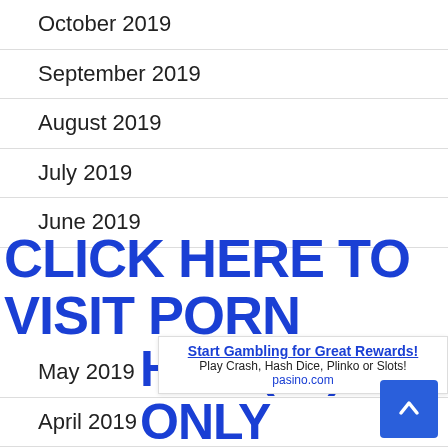October 2019
September 2019
August 2019
July 2019
June 2019
[Figure (other): Ad overlay text: CLICK HERE TO VISIT PORN HUB (18) + ONLY in large bold blue text]
May 2019
April 2019
Mar
[Figure (other): Ad banner: Start Gambling for Great Rewards! Play Crash, Hash Dice, Plinko or Slots! pasino.com]
February 2019